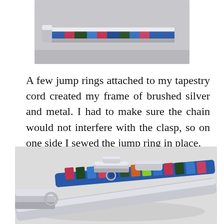[Figure (photo): Close-up of a tapestry cord with colorful woven pattern and brushed silver metal frame, partially cropped at top of page]
A few jump rings attached to my tapestry cord created my frame of brushed silver and metal. I had to make sure the chain would not interfere with the clasp, so on one side I sewed the jump ring in place.
[Figure (photo): Close-up photograph of colorful tapestry cord bracelet with silver metal clasps, jump rings, and a toggle mechanism. The cord shows vivid multicolor woven pattern.]